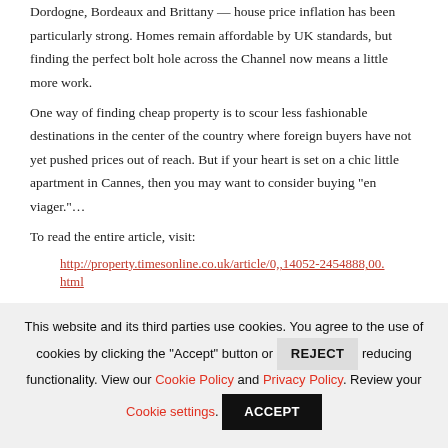Dordogne, Bordeaux and Brittany — house price inflation has been particularly strong. Homes remain affordable by UK standards, but finding the perfect bolt hole across the Channel now means a little more work.
One way of finding cheap property is to scour less fashionable destinations in the center of the country where foreign buyers have not yet pushed prices out of reach. But if your heart is set on a chic little apartment in Cannes, then you may want to consider buying "en viager."…
To read the entire article, visit:
http://property.timesonline.co.uk/article/0,,14052-2454888,00.html
This website and its third parties use cookies. You agree to the use of cookies by clicking the "Accept" button or REJECT reducing functionality. View our Cookie Policy and Privacy Policy. Review your Cookie settings. ACCEPT